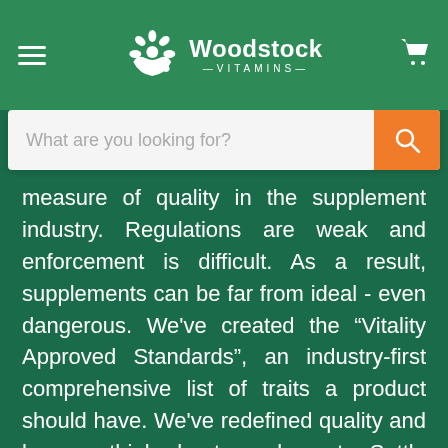Woodstock Vitamins
measure of quality in the supplement industry. Regulations are weak and enforcement is difficult. As a result, supplements can be far from ideal - even dangerous. We've created the “Vitality Approved Standards”, an industry-first comprehensive list of traits a product should have. We've redefined quality and how we think about supplements. Settle for nothing less than best-in-class products.
Rewards Program